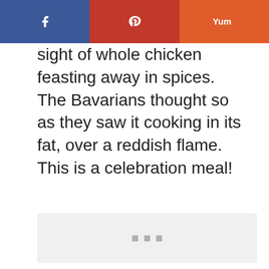[Figure (other): Social share bar with Facebook, Pinterest, and Yummly buttons]
sight of whole chicken feasting away in spices. The Bavarians thought so as they saw it cooking in its fat, over a reddish flame. This is a celebration meal!
[Figure (photo): Image placeholder with loading dots indicator]